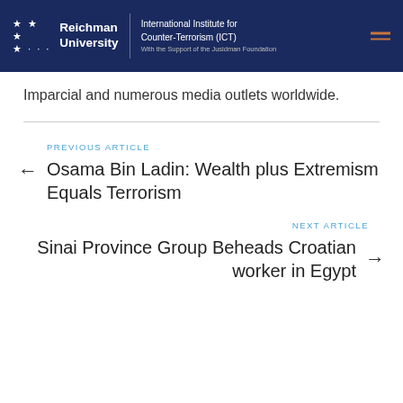Reichman University | International Institute for Counter-Terrorism (ICT) | With the Support of the Jusidman Foundation
Imparcial and numerous media outlets worldwide.
PREVIOUS ARTICLE
Osama Bin Ladin: Wealth plus Extremism Equals Terrorism
NEXT ARTICLE
Sinai Province Group Beheads Croatian worker in Egypt